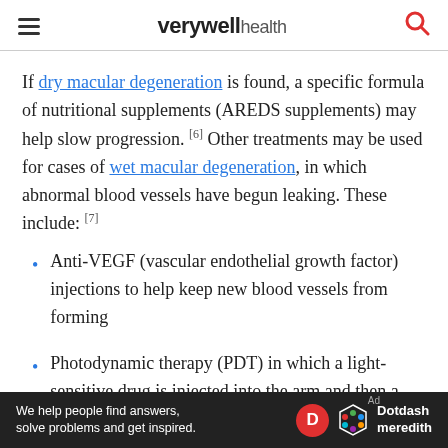verywell health
If dry macular degeneration is found, a specific formula of nutritional supplements (AREDS supplements) may help slow progression. [6] Other treatments may be used for cases of wet macular degeneration, in which abnormal blood vessels have begun leaking. These include: [7]
Anti-VEGF (vascular endothelial growth factor) injections to help keep new blood vessels from forming
Photodynamic therapy (PDT) in which a light-sensitive drug is injected into the arm and then a laser is used to get rid of abnormal
We help people find answers, solve problems and get inspired. Dotdash meredith